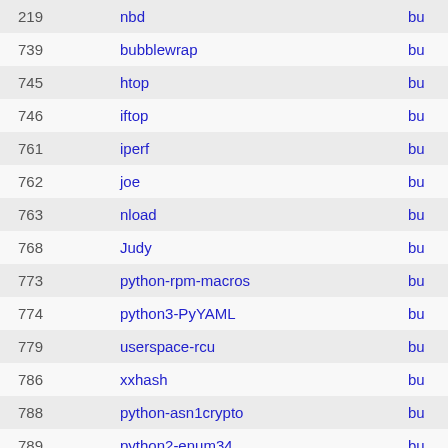| # | Name |  |
| --- | --- | --- |
| 219 | nbd | bu |
| 739 | bubblewrap | bu |
| 745 | htop | bu |
| 746 | iftop | bu |
| 761 | iperf | bu |
| 762 | joe | bu |
| 763 | nload | bu |
| 768 | Judy | bu |
| 773 | python-rpm-macros | bu |
| 774 | python3-PyYAML | bu |
| 779 | userspace-rcu | bu |
| 786 | xxhash | bu |
| 788 | python-asn1crypto | bu |
| 789 | python2-enum34 | bu |
| 817 | dpkg | bu |
| 299 | python-bitarray | bu |
| 300 | python-crypto | bu |
| 301 | python-ecdsa | bu |